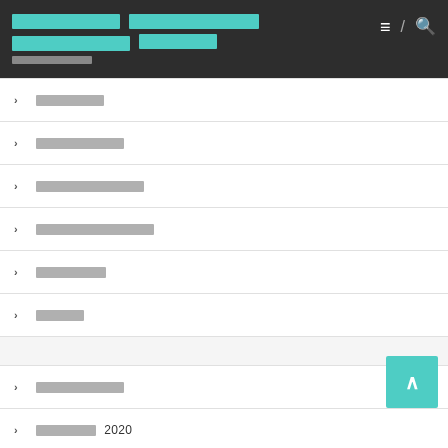[Redacted Title - Thai language navigation page header with subtitle]
[Redacted menu item 1]
[Redacted menu item 2]
[Redacted menu item 3]
[Redacted menu item 4]
[Redacted menu item 5]
[Redacted menu item 6]
[Redacted menu item 7]
[Redacted menu item 8] 2020
[Redacted menu item 9]